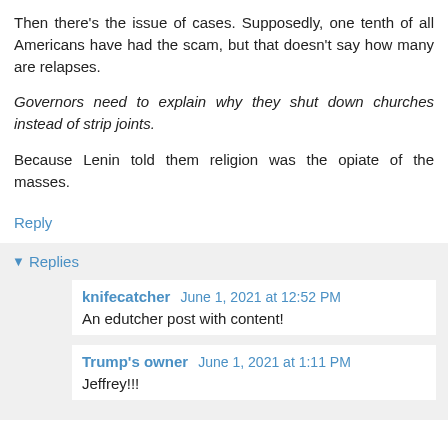Then there's the issue of cases. Supposedly, one tenth of all Americans have had the scam, but that doesn't say how many are relapses.
Governors need to explain why they shut down churches instead of strip joints.
Because Lenin told them religion was the opiate of the masses.
Reply
▼ Replies
knifecatcher  June 1, 2021 at 12:52 PM
An edutcher post with content!
Trump's owner  June 1, 2021 at 1:11 PM
Jeffrey!!!